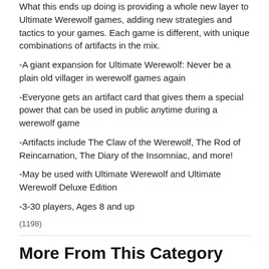What this ends up doing is providing a whole new layer to Ultimate Werewolf games, adding new strategies and tactics to your games. Each game is different, with unique combinations of artifacts in the mix.
-A giant expansion for Ultimate Werewolf: Never be a plain old villager in werewolf games again
-Everyone gets an artifact card that gives them a special power that can be used in public anytime during a werewolf game
-Artifacts include The Claw of the Werewolf, The Rod of Reincarnation, The Diary of the Insomniac, and more!
-May be used with Ultimate Werewolf and Ultimate Werewolf Deluxe Edition
-3-30 players, Ages 8 and up
(1198)
More From This Category
[Figure (other): Product card showing Math Fluxx with 7% OFF badge and RRP $29.95]